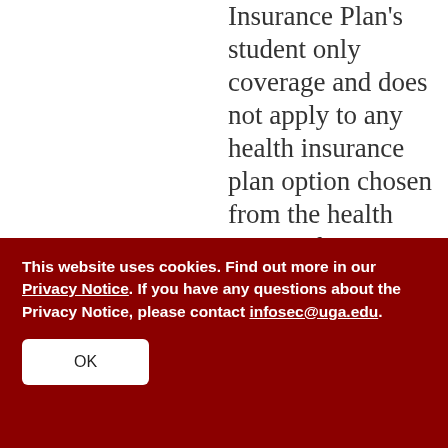Insurance Plan's student only coverage and does not apply to any health insurance plan option chosen from the health care exchange or marketplace. The subsidy
This website uses cookies. Find out more in our Privacy Notice. If you have any questions about the Privacy Notice, please contact infosec@uga.edu.